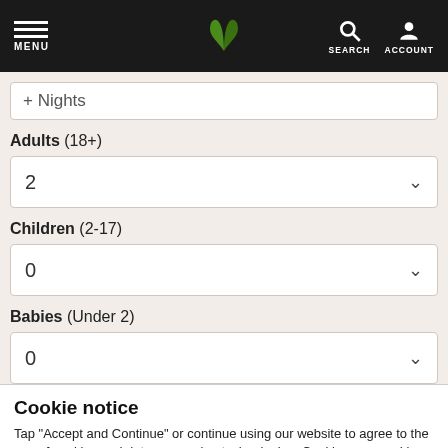MENU | [logo] | SEARCH ACCOUNT
Nights
Adults (18+)
2
Children (2-17)
0
Babies (Under 2)
0
Cookie notice
Tap "Accept and Continue" or continue using our website to agree to the use of cookies and data processing technologies. Cookies are used by us and our trusted partners to provide necessary website functionality, analyse, personalise and enhance your experience on this website as well as to deliver tailored holiday-related ads on other websites.
Accept and Continue